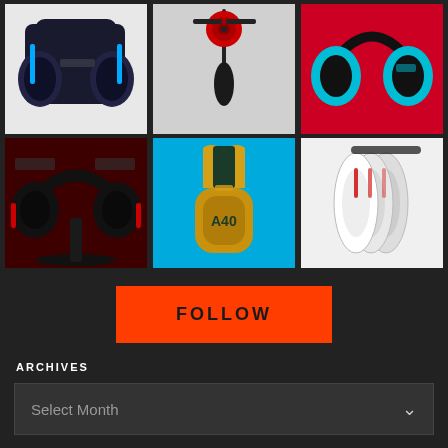[Figure (photo): Grid of 6 Astro Gaming headphone product photos arranged in 2 rows of 3]
FOLLOW
ARCHIVES
Select Month